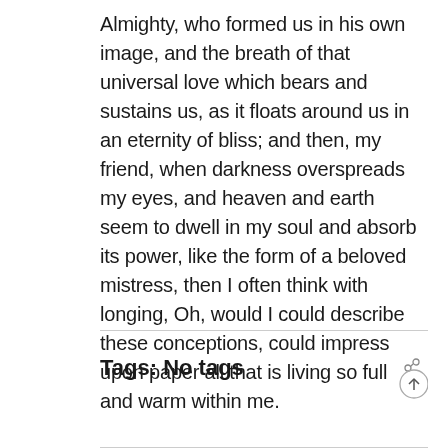Almighty, who formed us in his own image, and the breath of that universal love which bears and sustains us, as it floats around us in an eternity of bliss; and then, my friend, when darkness overspreads my eyes, and heaven and earth seem to dwell in my soul and absorb its power, like the form of a beloved mistress, then I often think with longing, Oh, would I could describe these conceptions, could impress upon paper all that is living so full and warm within me.
Tags: No tags